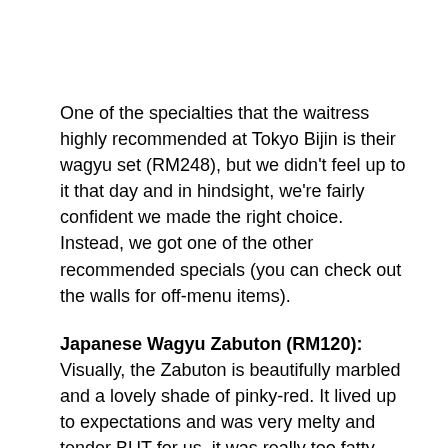One of the specialties that the waitress highly recommended at Tokyo Bijin is their wagyu set (RM248), but we didn't feel up to it that day and in hindsight, we're fairly confident we made the right choice. Instead, we got one of the other recommended specials (you can check out the walls for off-menu items).
Japanese Wagyu Zabuton (RM120): Visually, the Zabuton is beautifully marbled and a lovely shade of pinky-red. It lived up to expectations and was very melty and tender BUT for us, it was really too fatty. Another realisation in our Japanese BBQ journey: A4 Wagyu is a good journey for texture and taste, but A5 is just...unnngh too much. Blame our pleb tongues for not being able to appreciate it.